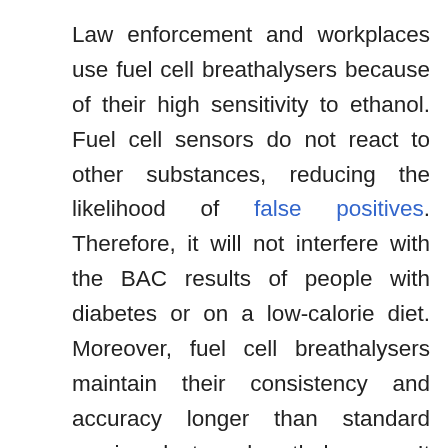Law enforcement and workplaces use fuel cell breathalysers because of their high sensitivity to ethanol. Fuel cell sensors do not react to other substances, reducing the likelihood of false positives. Therefore, it will not interfere with the BAC results of people with diabetes or on a low-calorie diet. Moreover, fuel cell breathalysers maintain their consistency and accuracy longer than standard semiconductor breathalysers. It would mean that they are ideal for high-volume use and need less frequent recalibration. All breath alcohol testing devices require periodic servicing to maintain the sensor's performance. Most workplace breathalysers have a recalibration period between six and nine months,